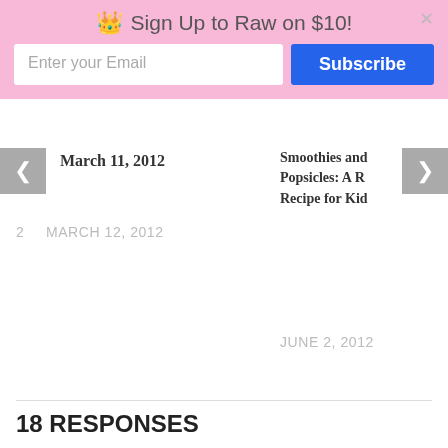Sign Up to Raw on $10!
March 11, 2012
Smoothies and Popsicles: A R Recipe for Kid
2  MARCH 12, 2012
JUNE 2, 2012
18 RESPONSES
Comments 18  Pingbacks 0
Jeanne  February 15, 2010 at 5:27 pm
Lisa, another amazing and wonderful day. When you are ready to release the E Book let me know – if you do affiliates I will post to my blog(s) too. Congrats! Awesome recipes.